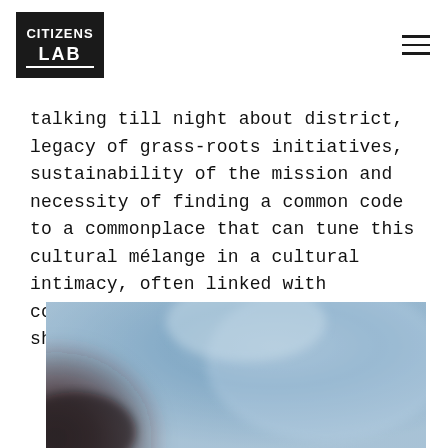CITIZENS LAB
talking till night about district, legacy of grass-roots initiatives, sustainability of the mission and necessity of finding a common code to a commonplace that can tune this cultural mélange in a cultural intimacy, often linked with collective blames and shames we all should face and overcome.
[Figure (photo): Blurred outdoor photo showing a dark silhouette figure against a hazy blue sky background.]